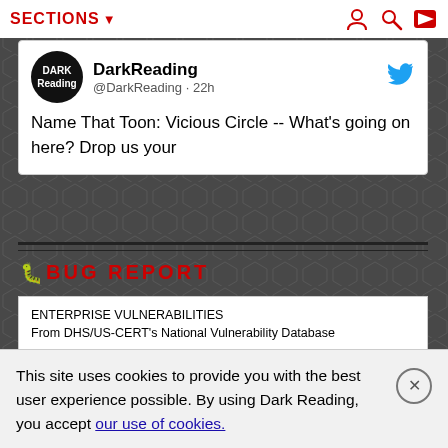SECTIONS
[Figure (screenshot): Tweet card from DarkReading (@DarkReading · 22h): Name That Toon: Vicious Circle -- What's going on here? Drop us your]
BUG REPORT
ENTERPRISE VULNERABILITIES
From DHS/US-CERT's National Vulnerability Database
CVE-2022-2927
PUBLISHED: 2022-08-22
Weak Password Requirements in GitHub repository notrinos/notrinoserp prior to 0.7.
CVE-2022-2841
PUBLISHED: 2022-08-22
This site uses cookies to provide you with the best user experience possible. By using Dark Reading, you accept our use of cookies.